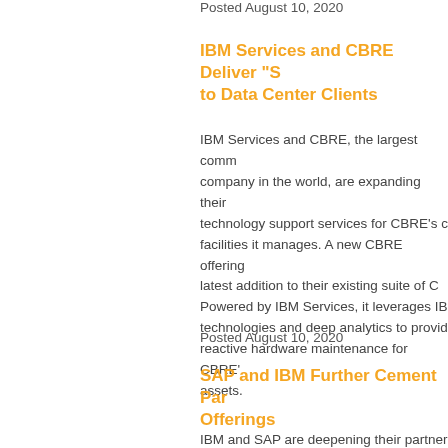Posted August 10, 2020
IBM Services and CBRE Deliver "S to Data Center Clients
IBM Services and CBRE, the largest comm company in the world, are expanding their technology support services for CBRE's c facilities it manages. A new CBRE offering latest addition to their existing suite of C Powered by IBM Services, it leverages IB technologies and deep analytics to provid reactive hardware maintenance for CBRE assets.
Posted August 10, 2020
SAP and IBM Further Cement Par Offerings
IBM and SAP are deepening their partner